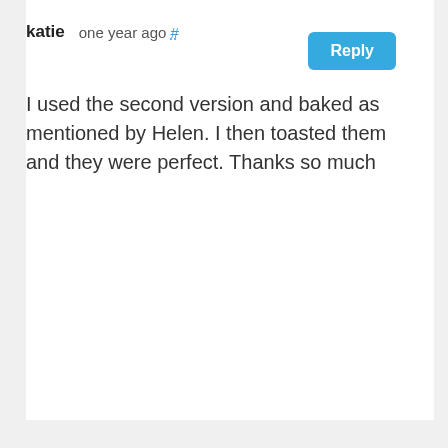katie   one year ago #
I used the second version and baked as mentioned by Helen.  I then toasted them and they were perfect.  Thanks so much